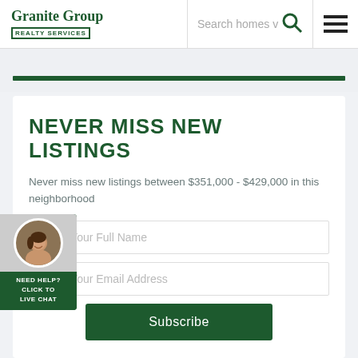Granite Group REALTY SERVICES | Search homes v | [search icon] | [menu icon]
NEVER MISS NEW LISTINGS
Never miss new listings between $351,000 - $429,000 in this neighborhood
Enter Your Full Name
Enter Your Email Address
Subscribe
[Figure (photo): Live chat widget with female agent avatar and 'NEED HELP? CLICK TO LIVE CHAT' text on dark green background]